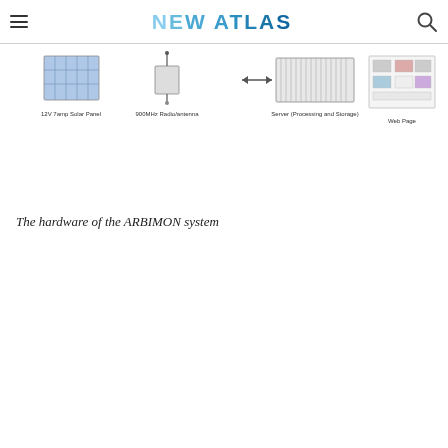NEW ATLAS
[Figure (schematic): Hardware diagram showing components of the ARBIMON system: 12V 7amp Solar Panel, 900MHz Radio/antenna, Server (Processing and Storage) with bidirectional arrow, and Web Page screenshot.]
The hardware of the ARBIMON system